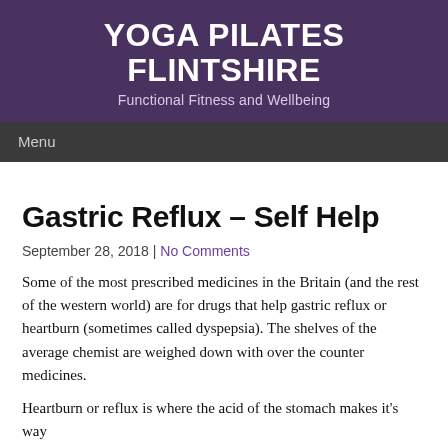YOGA PILATES FLINTSHIRE
Functional Fitness and Wellbeing
Menu
Gastric Reflux – Self Help
September 28, 2018 | No Comments
Some of the most prescribed medicines in the Britain (and the rest of the western world) are for drugs that help gastric reflux or heartburn (sometimes called dyspepsia). The shelves of the average chemist are weighed down with over the counter medicines.
Heartburn or reflux is where the acid of the stomach makes it's way